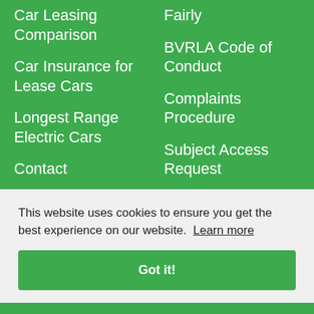Car Leasing Comparison
Car Insurance for Lease Cars
Longest Range Electric Cars
Contact
Fairly
BVRLA Code of Conduct
Complaints Procedure
Subject Access Request
Privacy Policy
This website uses cookies to ensure you get the best experience on our website. Learn more
Got it!